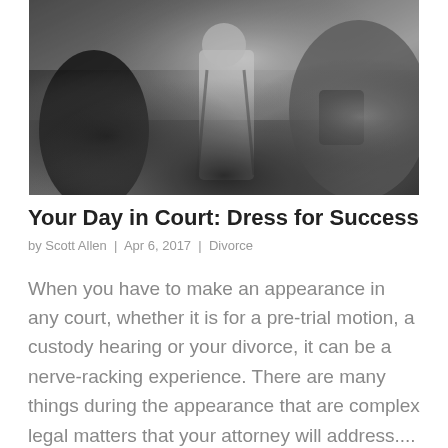[Figure (photo): Black and white photograph of people walking outside, appearing to be outside a courthouse or legal building. A man in a suit with a tie and briefcase is visible in the center.]
Your Day in Court: Dress for Success
by Scott Allen | Apr 6, 2017 | Divorce
When you have to make an appearance in any court, whether it is for a pre-trial motion, a custody hearing or your divorce, it can be a nerve-racking experience. There are many things during the appearance that are complex legal matters that your attorney will address....